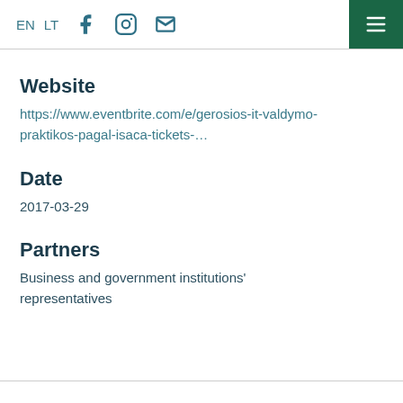EN  LT  [Facebook] [Instagram] [Email] [Menu]
Website
https://www.eventbrite.com/e/gerosios-it-valdymo-praktikos-pagal-isaca-tickets-…
Date
2017-03-29
Partners
Business and government institutions' representatives